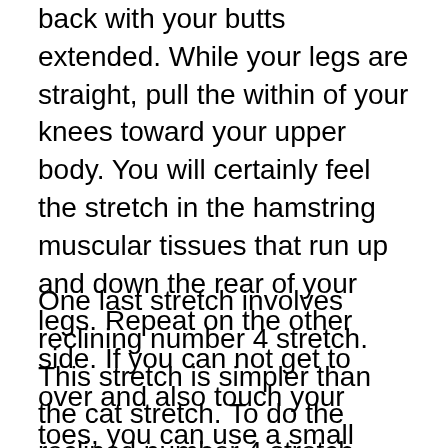back with your butts extended. While your legs are straight, pull the within of your knees toward your upper body. You will certainly feel the stretch in the hamstring muscular tissues that run up and down the rear of your legs. Repeat on the other side. If you can not get to over and also touch your toes, you can use a small block to sustain them. If you can not pull your butt to the ground, you might wish to have someone carefully use pressure or take a break.
One last stretch involves reclining number 4 stretch. This stretch is simpler than the cat stretch. To do the reclined number 4 stretch, initial draw your knees straight to the flooring with the spheres of your feet. Next, bend your knees so your feet are resting on